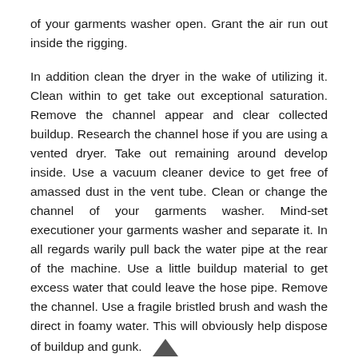of your garments washer open. Grant the air run out inside the rigging.
In addition clean the dryer in the wake of utilizing it. Clean within to get take out exceptional saturation. Remove the channel appear and clear collected buildup. Research the channel hose if you are using a vented dryer. Take out remaining around develop inside. Use a vacuum cleaner device to get free of amassed dust in the vent tube. Clean or change the channel of your garments washer. Mind-set executioner your garments washer and separate it. In all regards warily pull back the water pipe at the rear of the machine. Use a little buildup material to get excess water that could leave the hose pipe. Remove the channel. Use a fragile bristled brush and wash the direct in foamy water. This will obviously help dispose of buildup and gunk.
Attempt to run an unfilled bubbling water cycle and incorporate some refined white vinegar at any rate when a